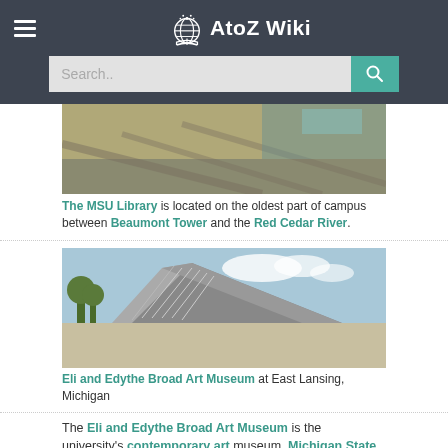AtoZ Wiki
[Figure (photo): Outdoor campus scene showing paved area with trees and shadows, partial view of MSU Library surroundings]
The MSU Library is located on the oldest part of campus between Beaumont Tower and the Red Cedar River.
[Figure (photo): Eli and Edythe Broad Art Museum building exterior with angular metallic facade at East Lansing, Michigan]
Eli and Edythe Broad Art Museum at East Lansing, Michigan
The Eli and Edythe Broad Art Museum is the university's contemporary art museum. Michigan State University